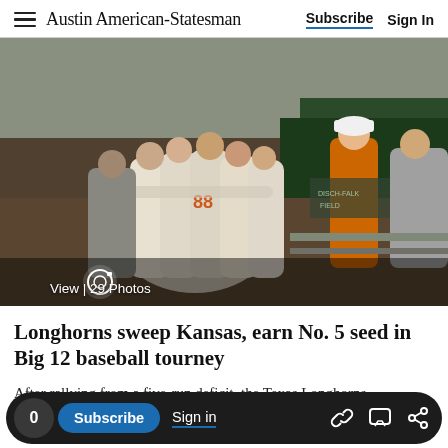Austin American-Statesman | Subscribe | Sign In
[Figure (photo): Texas Longhorns baseball players in a group huddle on the field, wearing white uniforms with orange numbers. Other players and coaches visible in background near dugout.]
View | 29 Photos
Longhorns sweep Kansas, earn No. 5 seed in Big 12 baseball tourney
After rallying from a five-run deficit, the Texas Longhorns
0 | Subscribe | Sign in